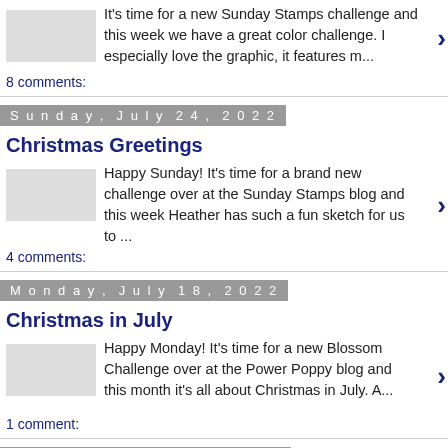It's time for a new Sunday Stamps challenge and this week we have a great color challenge. I especially love the graphic, it features m...
8 comments:
Sunday, July 24, 2022
Christmas Greetings
Happy Sunday! It's time for a brand new challenge over at the Sunday Stamps blog and this week Heather has such a fun sketch for us to ...
4 comments:
Monday, July 18, 2022
Christmas in July
Happy Monday! It's time for a new Blossom Challenge over at the Power Poppy blog and this month it's all about Christmas in July. A...
1 comment:
Sunday, June 26, 2022
My Popchart...